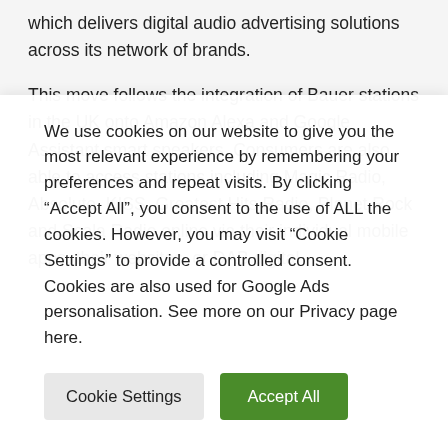which delivers digital audio advertising solutions across its network of brands.
This move follows the integration of Bauer stations in the UK onto Amazon Alexa and Google Assistant smart speakers. Consumers are also able to access stations including Magic Radio, Absolute, KISS, Greatest Hits Radio, Planet Rock and Scala Radio online via their individual mobile apps, their websites, or DAB digital
We use cookies on our website to give you the most relevant experience by remembering your preferences and repeat visits. By clicking “Accept All”, you consent to the use of ALL the cookies. However, you may visit “Cookie Settings” to provide a controlled consent. Cookies are also used for Google Ads personalisation. See more on our Privacy page here.